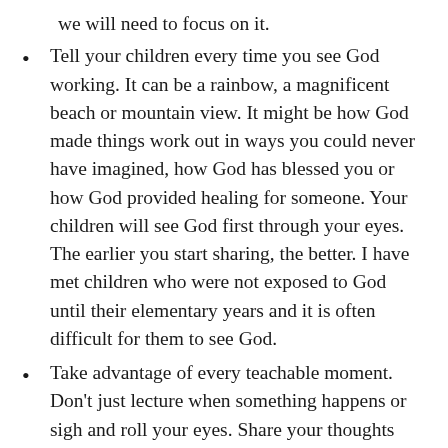we will need to focus on it.
Tell your children every time you see God working. It can be a rainbow, a magnificent beach or mountain view. It might be how God made things work out in ways you could never have imagined, how God has blessed you or how God provided healing for someone. Your children will see God first through your eyes. The earlier you start sharing, the better. I have met children who were not exposed to God until their elementary years and it is often difficult for them to see God.
Take advantage of every teachable moment. Don’t just lecture when something happens or sigh and roll your eyes. Share your thoughts and hopes. Let them know God commands us to obey, because His commands are what will lead us to the most fulfilling life on earth and to eternal life with Him in Heaven. Give examples from the Bible of people who did and did not listen to God